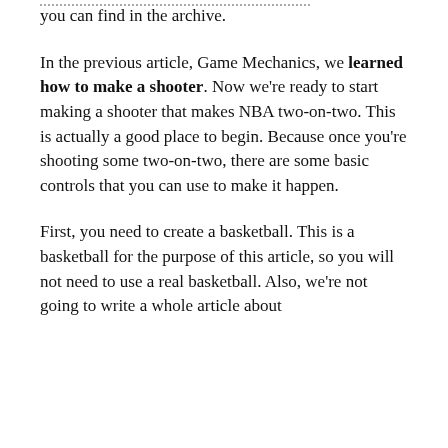you can find in the archive.
In the previous article, Game Mechanics, we learned how to make a shooter. Now we're ready to start making a shooter that makes NBA two-on-two. This is actually a good place to begin. Because once you're shooting some two-on-two, there are some basic controls that you can use to make it happen.
First, you need to create a basketball. This is a basketball for the purpose of this article, so you will not need to use a real basketball. Also, we're not going to write a whole article about